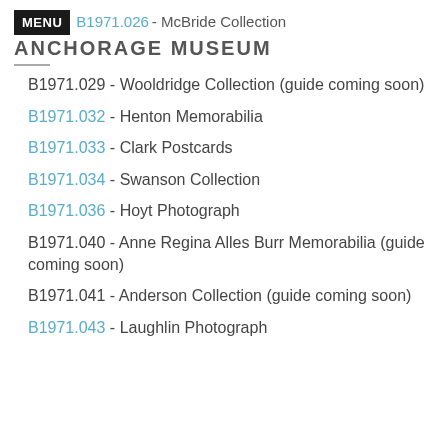MENU | B1971.026 - McBride Collection | ANCHORAGE MUSEUM
B1971.029  -  Wooldridge Collection (guide coming soon)
B1971.032  -  Henton Memorabilia
B1971.033  -  Clark Postcards
B1971.034  -  Swanson Collection
B1971.036  -  Hoyt Photograph
B1971.040  -  Anne Regina Alles Burr Memorabilia (guide coming soon)
B1971.041  -  Anderson Collection (guide coming soon)
B1971.043  -  Laughlin Photograph